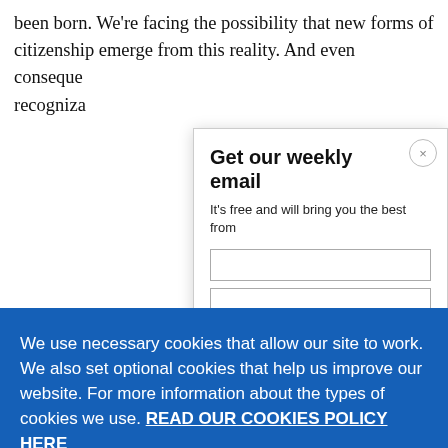been born. We're facing the possibility that new forms of citizenship emerge from this reality. And even consequences recogniza
Get our weekly email
It's free and will bring you the best from
We use necessary cookies that allow our site to work. We also set optional cookies that help us improve our website. For more information about the types of cookies we use. READ OUR COOKIES POLICY HERE
COOKIE SETTINGS
ALLOW ALL COOKIES
data.